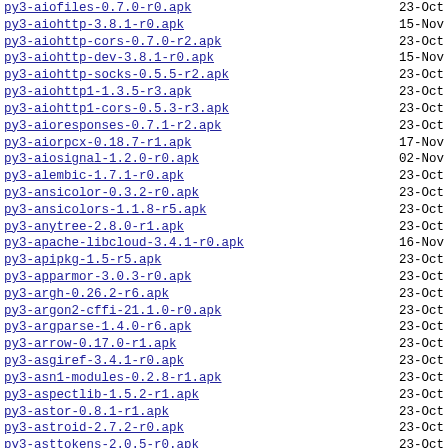py3-aiofiles-0.7.0-r0.apk  23-Oct
py3-aiohttp-3.8.1-r0.apk  15-Nov
py3-aiohttp-cors-0.7.0-r2.apk  23-Oct
py3-aiohttp-dev-3.8.1-r0.apk  15-Nov
py3-aiohttp-socks-0.5.5-r2.apk  23-Oct
py3-aiohttp1-1.3.5-r3.apk  23-Oct
py3-aiohttp1-cors-0.5.3-r3.apk  23-Oct
py3-aioresponses-0.7.1-r2.apk  23-Oct
py3-aiorpcx-0.18.7-r1.apk  17-Nov
py3-aiosignal-1.2.0-r0.apk  02-Nov
py3-alembic-1.7.1-r0.apk  23-Oct
py3-ansicolor-0.3.2-r0.apk  23-Oct
py3-ansicolors-1.1.8-r5.apk  23-Oct
py3-anytree-2.8.0-r1.apk  23-Oct
py3-apache-libcloud-3.4.1-r0.apk  16-Nov
py3-apipkg-1.5-r5.apk  23-Oct
py3-apparmor-3.0.3-r0.apk  23-Oct
py3-argh-0.26.2-r6.apk  23-Oct
py3-argon2-cffi-21.1.0-r0.apk  23-Oct
py3-argparse-1.4.0-r6.apk  23-Oct
py3-arrow-0.17.0-r1.apk  23-Oct
py3-asgiref-3.4.1-r0.apk  23-Oct
py3-asn1-modules-0.2.8-r1.apk  23-Oct
py3-aspectlib-1.5.2-r1.apk  23-Oct
py3-astor-0.8.1-r1.apk  23-Oct
py3-astroid-2.7.2-r0.apk  23-Oct
py3-asttokens-2.0.5-r0.apk  23-Oct
py3-async-timeout-4.0.1-r0.apk  12-Nov
py3-async_generator-1.10-r2.apk  23-Oct
py3-atspi-2.38.1-r1.apk  23-Oct
py3-aupees-1.1.0-r1.apk  23-Oct